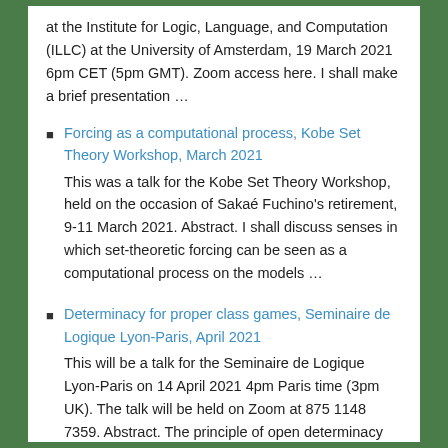at the Institute for Logic, Language, and Computation (ILLC) at the University of Amsterdam, 19 March 2021 6pm CET (5pm GMT). Zoom access here. I shall make a brief presentation …
Forcing as a computational process, Kobe Set Theory Workshop, March 2021
This was a talk for the Kobe Set Theory Workshop, held on the occasion of Sakaé Fuchino's retirement, 9-11 March 2021. Abstract. I shall discuss senses in which set-theoretic forcing can be seen as a computational process on the models …
Determinacy for proper class games, Seminaire de Logique Lyon-Paris, April 2021
This will be a talk for the Seminaire de Logique Lyon-Paris on 14 April 2021 4pm Paris time (3pm UK). The talk will be held on Zoom at 875 1148 7359. Abstract. The principle of open determinacy for class games …